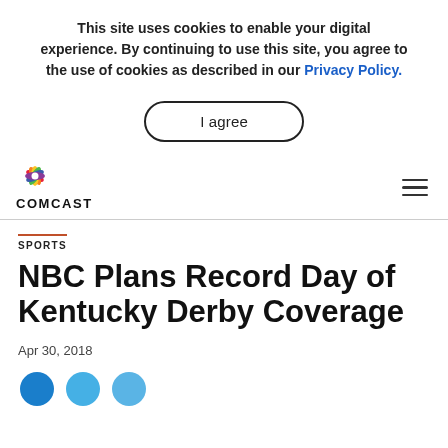This site uses cookies to enable your digital experience. By continuing to use this site, you agree to the use of cookies as described in our Privacy Policy.
I agree
[Figure (logo): NBC peacock multicolor logo above the text COMCAST]
SPORTS
NBC Plans Record Day of Kentucky Derby Coverage
Apr 30, 2018